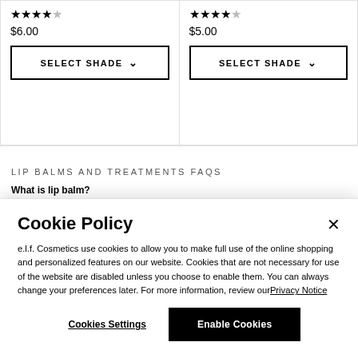[Figure (other): Product card left: 4 filled stars and 1 empty star rating, price $6.00, SELECT SHADE button with chevron]
[Figure (other): Product card right: 4 filled stars and 1 empty star rating, price $5.00, SELECT SHADE button with chevron]
LIP BALMS AND TREATMENTS FAQS
What is lip balm?
Lip balm is a wax-based substance applied to the lips. They are used to moisturize and...
Cookie Policy
e.l.f. Cosmetics use cookies to allow you to make full use of the online shopping and personalized features on our website. Cookies that are not necessary for use of the website are disabled unless you choose to enable them. You can always change your preferences later. For more information, review ourPrivacy Notice
Cookies Settings
Enable Cookies